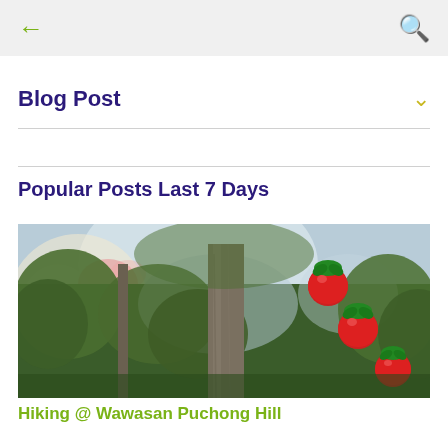← 🔍
Blog Post
Popular Posts Last 7 Days
[Figure (photo): Outdoor photo looking up at tall trees with green foliage and a bright sky. On the right side of the tree trunk hang decorative red round ornaments with green tops resembling stylized tomatoes or apples. Sun flare visible on the left.]
Hiking @ Wawasan Puchong Hill